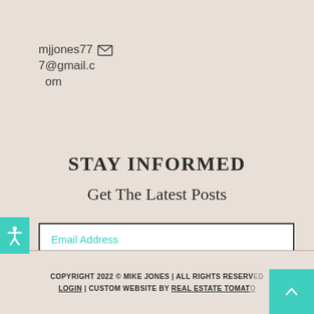mjjones777@gmail.com
STAY INFORMED
Get The Latest Posts
Email Address
Subscribe
COPYRIGHT 2022 © MIKE JONES | ALL RIGHTS RESERVED LOGIN | CUSTOM WEBSITE BY REAL ESTATE TOMATO